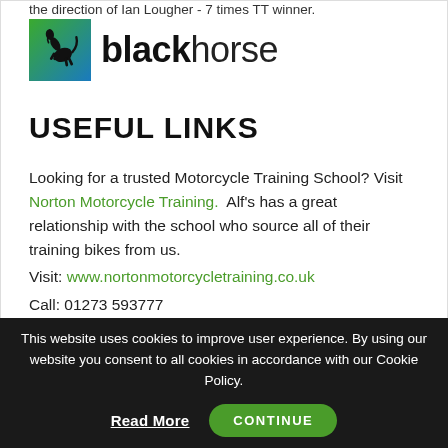the direction of Ian Lougher - 7 times TT winner.
[Figure (logo): Black Horse logo: rearing black horse on green/blue background square with 'blackhorse' text in bold and regular weight]
USEFUL LINKS
Looking for a trusted Motorcycle Training School? Visit Norton Motorcycle Training. Alf's has a great relationship with the school who source all of their training bikes from us.
Visit: www.nortonmotorcycletraining.co.uk
Call: 01273 593777
This website uses cookies to improve user experience. By using our website you consent to all cookies in accordance with our Cookie Policy.
Read More  CONTINUE